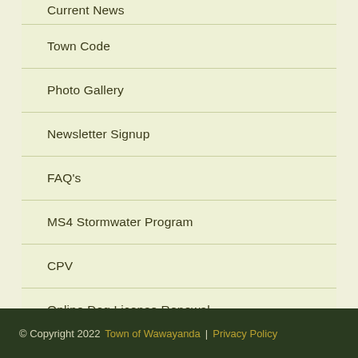Current News
Town Code
Photo Gallery
Newsletter Signup
FAQ's
MS4 Stormwater Program
CPV
Online Dog License Renewal
© Copyright 2022 Town of Wawayanda | Privacy Policy